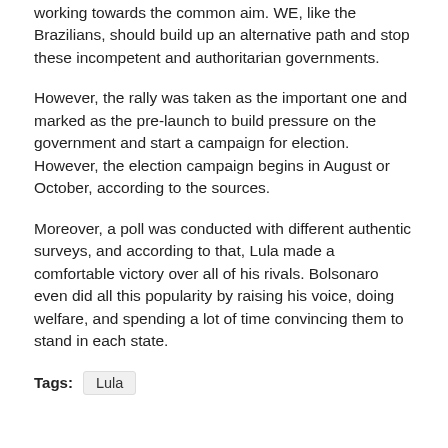working towards the common aim. WE, like the Brazilians, should build up an alternative path and stop these incompetent and authoritarian governments.
However, the rally was taken as the important one and marked as the pre-launch to build pressure on the government and start a campaign for election. However, the election campaign begins in August or October, according to the sources.
Moreover, a poll was conducted with different authentic surveys, and according to that, Lula made a comfortable victory over all of his rivals. Bolsonaro even did all this popularity by raising his voice, doing welfare, and spending a lot of time convincing them to stand in each state.
Tags: Lula